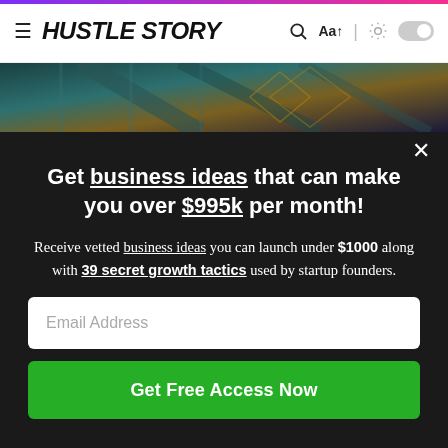HUSTLE STORY
[Figure (photo): Aerial view of glass buildings / architectural photo used as hero banner]
Get business ideas that can make you over $995k per month!
Receive vetted business ideas you can launch under $1000 along with 39 secret growth tactics used by startup founders.
Email Address
Get Free Access Now